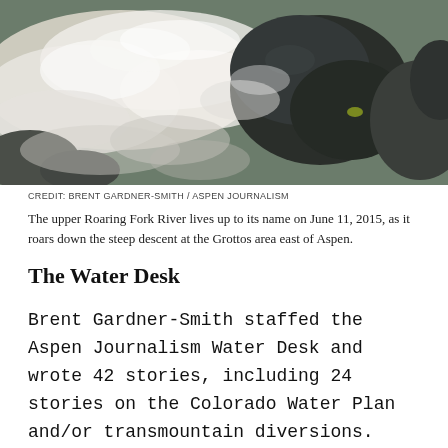[Figure (photo): Turbulent whitewater of the upper Roaring Fork River rushing over and around dark rocks, photographed on June 11, 2015 at the Grottos area east of Aspen.]
CREDIT: BRENT GARDNER-SMITH / ASPEN JOURNALISM
The upper Roaring Fork River lives up to its name on June 11, 2015, as it roars down the steep descent at the Grottos area east of Aspen.
The Water Desk
Brent Gardner-Smith staffed the Aspen Journalism Water Desk and wrote 42 stories, including 24 stories on the Colorado Water Plan and/or transmountain diversions.